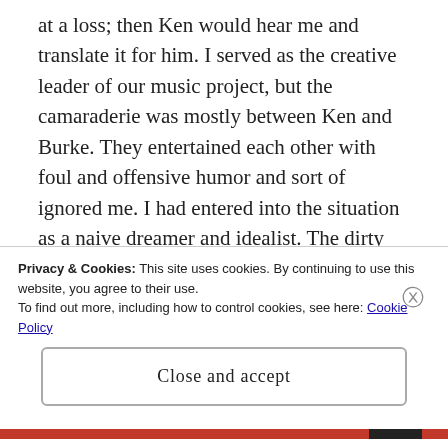at a loss; then Ken would hear me and translate it for him. I served as the creative leader of our music project, but the camaraderie was mostly between Ken and Burke. They entertained each other with foul and offensive humor and sort of ignored me. I had entered into the situation as a naive dreamer and idealist. The dirty talk always puzzled me, but after more than a year of it I became numbed. The fact is that everyone who encountered my idealism tried to sabotage it, to tear it down and squat on it. I was kind of like the male version of Blanche in the play by Tennessee Williams. People, particularly if they were
Privacy & Cookies: This site uses cookies. By continuing to use this website, you agree to their use.
To find out more, including how to control cookies, see here: Cookie Policy
Close and accept